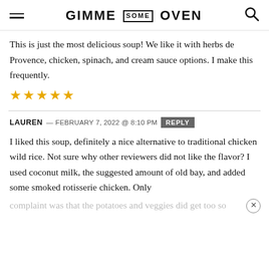GIMME SOME OVEN
This is just the most delicious soup! We like it with herbs de Provence, chicken, spinach, and cream sauce options. I make this frequently.
★★★★★
LAUREN — FEBRUARY 7, 2022 @ 8:10 PM  REPLY
I liked this soup, definitely a nice alternative to traditional chicken wild rice. Not sure why other reviewers did not like the flavor? I used coconut milk, the suggested amount of old bay, and added some smoked rotisserie chicken. Only complaint was that the potatoes and veggies did get too so